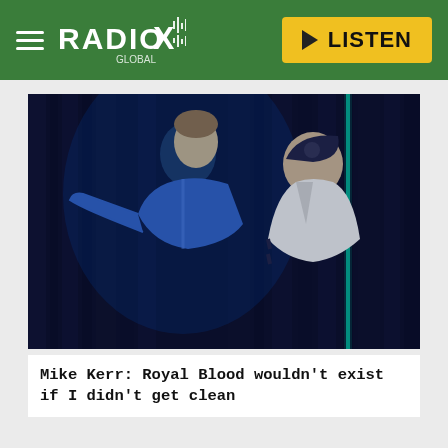RADIO X | LISTEN
[Figure (photo): Two members of Royal Blood band posing in a dark blue-lit environment with vertical curtain-like backdrop. Left person in shiny blue jacket extending arm, right person in white varsity jacket with cap.]
Mike Kerr: Royal Blood wouldn't exist if I didn't get clean
TRENDING ON RADIO X